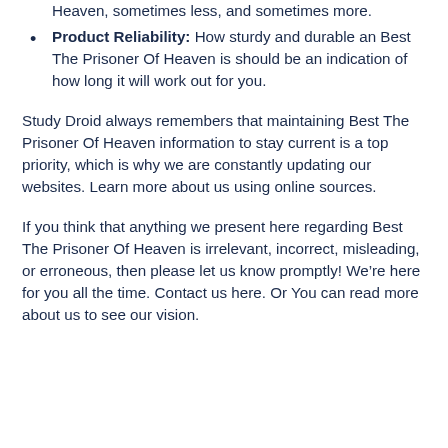Heaven, sometimes less, and sometimes more.
Product Reliability: How sturdy and durable an Best The Prisoner Of Heaven is should be an indication of how long it will work out for you.
Study Droid always remembers that maintaining Best The Prisoner Of Heaven information to stay current is a top priority, which is why we are constantly updating our websites. Learn more about us using online sources.
If you think that anything we present here regarding Best The Prisoner Of Heaven is irrelevant, incorrect, misleading, or erroneous, then please let us know promptly! We’re here for you all the time. Contact us here. Or You can read more about us to see our vision.